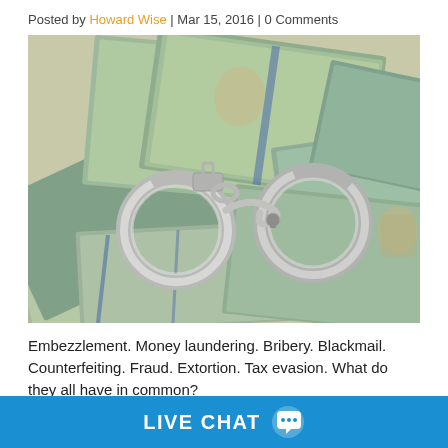Posted by Howard Wise | Mar 15, 2016 | 0 Comments
[Figure (photo): Photo of handcuffs lying on top of scattered US dollar bills ($100 bills)]
Embezzlement. Money laundering. Bribery. Blackmail. Counterfeiting. Fraud. Extortion. Tax evasion. What do they all have in common?
LIVE CHAT